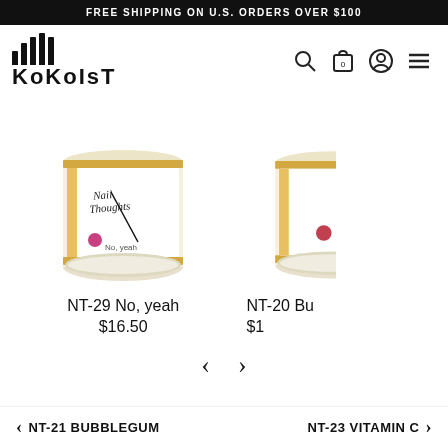FREE SHIPPING ON U.S. ORDERS OVER $100
[Figure (logo): KOKOIST brand logo with vertical bars and stylized text]
[Figure (photo): NT-29 No, yeah nail product jar with white and yellow label]
NT-29 No, yeah
$16.50
[Figure (photo): NT-20 Bu (partially visible) nail product jar]
NT-20 Bu
$1
< NT-21 BUBBLEGUM    NT-23 VITAMIN C >